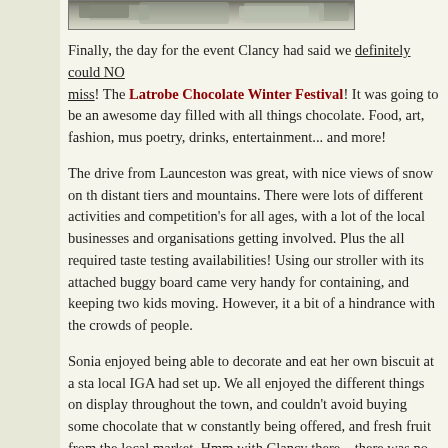[Figure (photo): Partial photo strip at top of page showing snow-covered or wintry landscape scene]
Finally, the day for the event Clancy had said we definitely could NOT miss! The Latrobe Chocolate Winter Festival! It was going to be an awesome day filled with all things chocolate. Food, art, fashion, music, poetry, drinks, entertainment... and more!
The drive from Launceston was great, with nice views of snow on the distant tiers and mountains. There were lots of different activities and competition's for all ages, with a lot of the local businesses and organisations getting involved. Plus the all required taste testing availabilities! Using our stroller with its attached buggy board came very handy for containing, and keeping two kids moving. However, it was a bit of a hindrance with the crowds of people.
Sonia enjoyed being able to decorate and eat her own biscuit at a stall the local IGA had set up. We all enjoyed the different things on display throughout the town, and couldn't avoid buying some chocolate that was constantly being offered, and fresh fruit from the local market. Hmm, with Clancy there... there was no way we were going to miss the taste testing sites!
Picking up lunch to take and eat in a park turned out to be a good idea. We found a nice park with playground, picnic tables, toilets, parking, a creek with small waterfall/rapids and bridge, just behind the shops on the main street. Coincidentally named 'Kings Park'. We're from Perth, W...